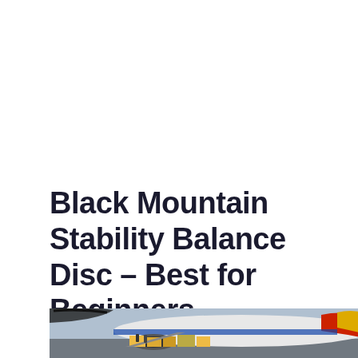Black Mountain Stability Balance Disc – Best for Beginners
[Figure (photo): Advertisement banner image showing cargo being loaded onto an aircraft with colorful livery (American Airlines style). A dark overlay panel on the right reads 'WITHOUT REGARD TO POLITICS, RELIGION, OR ABILITY TO PAY' in white text.]